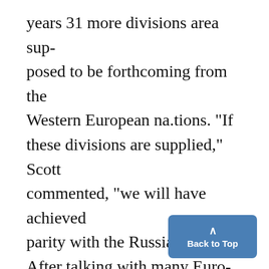years 31 more divisions area supposed to be forthcoming from the Western European na.tions. "If these divisions are supplied," Scott commented, "we will have achieved parity with the Russians." After talking with many Europeans, Scott said he felt that "narrow nationalism is being. replaced by a desire for pan-Europeanism and that European unity is not a hopeless cause." When asked about neo-fascim in Germany, Scott said that thi